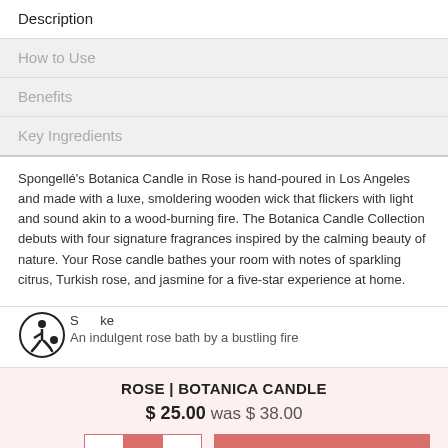Description
How to Use
Benefits
Key Ingredients
Spongellé's Botanica Candle in Rose is hand-poured in Los Angeles and made with a luxe, smoldering wooden wick that flickers with light and sound akin to a wood-burning fire. The Botanica Candle Collection debuts with four signature fragrances inspired by the calming beauty of nature. Your Rose candle bathes your room with notes of sparkling citrus, Turkish rose, and jasmine for a five-star experience at home.
S...ke
An indulgent rose bath by a bustling fire
ROSE | BOTANICA CANDLE
$ 25.00 was $ 38.00
Quantity  −  1  +  ADD TO CART